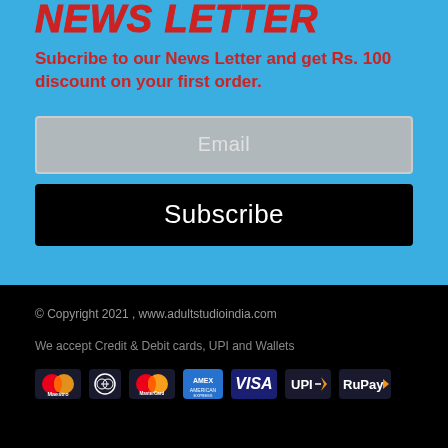NEWSLETTER
Subcribe to our News Letter and get Rs. 100 discount on your first order.
Email
Subscribe
© Copyright 2021 , www.adultstudioindia.com
We accept Credit & Debit cards, UPI and Wallets
[Figure (logo): Payment method logos: Maestro, Diners Club, MasterCard, American Express, VISA, UPI, RuPay]